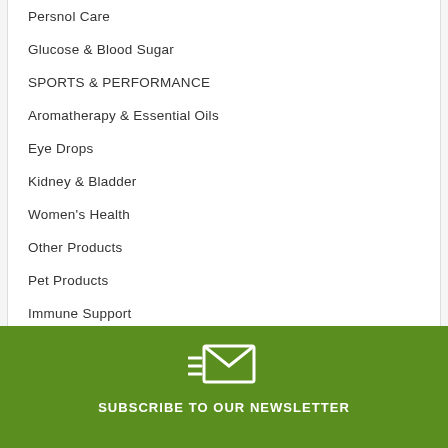Persnol Care
Glucose & Blood Sugar
SPORTS & PERFORMANCE
Aromatherapy & Essential Oils
Eye Drops
Kidney & Bladder
Women's Health
Other Products
Pet Products
Immune Support
[Figure (illustration): Email envelope icon with motion lines on a green background, above a 'SUBSCRIBE TO OUR NEWSLETTER' label]